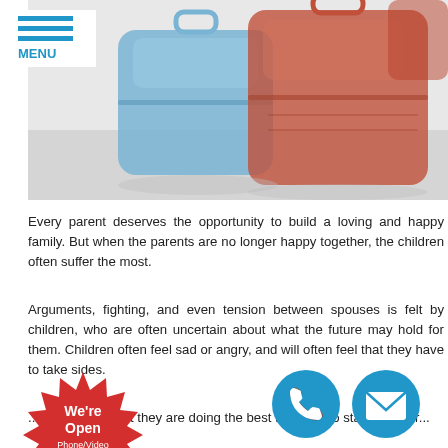[Figure (photo): Photo of blue and red/orange luggage suitcases against a light background, partially cropped]
Every parent deserves the opportunity to build a loving and happy family. But when the parents are no longer happy together, the children often suffer the most.
Arguments, fighting, and even tension between spouses is felt by children, who are often uncertain about what the future may hold for them. Children often feel sad or angry, and will often feel that they have to take sides.
...parents feel that they are doing the best they can to stay together while maintaining family stability...
[Figure (infographic): Red starburst badge with 'We're Open' text and 'Phone/Video Consultations Available']
[Figure (infographic): Blue circle phone icon]
[Figure (infographic): Blue circle email/envelope icon]